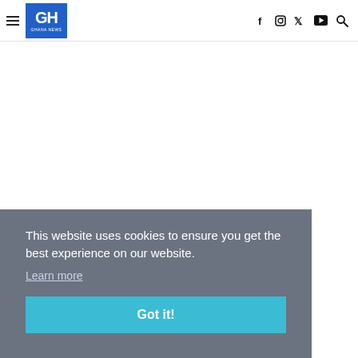GH Ghana News — navigation header with hamburger menu, logo, and social icons (f, Instagram, Twitter, YouTube, Search)
This website uses cookies to ensure you get the best experience on our website.
Learn more
Got it!